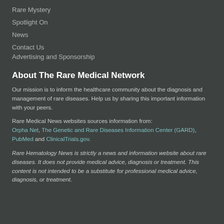Rare Mystery
Spotlight On
News
Contact Us
Advertising and Sponsorship
About The Rare Medical Network
Our mission is to inform the healthcare community about the diagnosis and management of rare diseases. Help us by sharing this important information with your peers.
Rare Medical News websites sources information from: Orpha Net, The Genetic and Rare Diseases Information Center (GARD), PubMed and ClinicalTrials.gov.
Rare Hematology News is strictly a news and information website about rare diseases. It does not provide medical advice, diagnosis or treatment. This content is not intended to be a substitute for professional medical advice, diagnosis, or treatment.